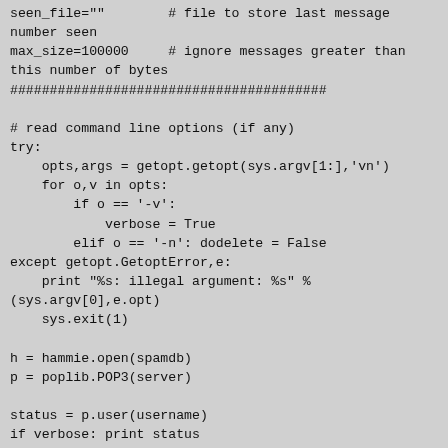seen_file=""        # file to store last message
number seen
max_size=100000     # ignore messages greater than
this number of bytes
########################################

# read command line options (if any)
try:
    opts,args = getopt.getopt(sys.argv[1:],'vn')
    for o,v in opts:
        if o == '-v':
            verbose = True
        elif o == '-n': dodelete = False
except getopt.GetoptError,e:
    print "%s: illegal argument: %s" %
(sys.argv[0],e.opt)
    sys.exit(1)

h = hammie.open(spamdb)
p = poplib.POP3(server)

status = p.user(username)
if verbose: print status
status = p.pass_(password)
if verbose: print status

stat = p.stat()
if verbose: print "# Messages:",stat[0],"; #
bytes",stat[1]
nmsgs = stat[0]